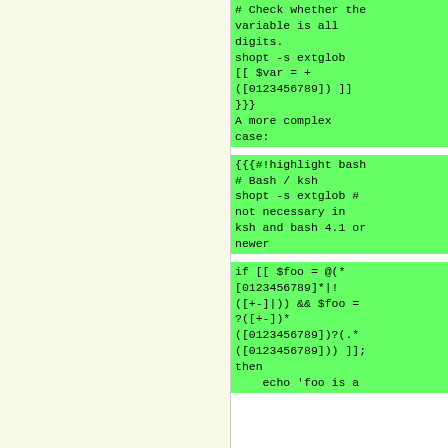# Check whether the variable is all digits.
shopt -s extglob
[[ $var = +([0123456789]) ]]
}}}
A more complex case:
{{{#!highlight bash
# Bash / ksh
shopt -s extglob # not necessary in ksh and bash 4.1 or newer
if [[ $foo = @(*[0123456789]*|!([+-]|)) && $foo = ?([+-])*([0123456789])?(.*([0123456789])) ]]; then
    echo 'foo is a